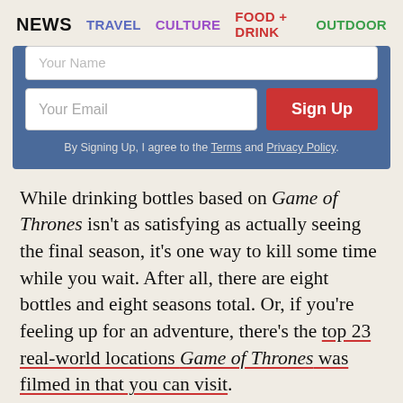NEWS   TRAVEL   CULTURE   FOOD + DRINK   OUTDOOR
[Figure (screenshot): Email signup widget with 'Your Name' field (partially visible), 'Your Email' field, 'Sign Up' button in red, and terms text on blue background]
While drinking bottles based on Game of Thrones isn't as satisfying as actually seeing the final season, it's one way to kill some time while you wait. After all, there are eight bottles and eight seasons total. Or, if you're feeling up for an adventure, there's the top 23 real-world locations Game of Thrones was filmed in that you can visit.